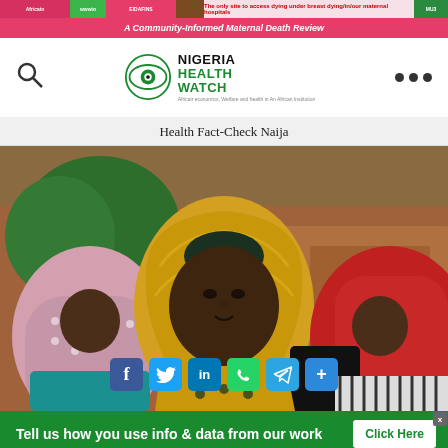Nigeria Health Watch - A Community-Informed Maternal Death Review
[Figure (logo): Nigeria Health Watch logo with eye icon and green text]
Health Fact-Check Naija
[Figure (photo): Group of Nigerian women wearing hijabs sitting outdoors, central woman in yellow hijab, other women in pink/white patterned and red hijabs, earthen mud wall and green trees in background]
Tell us how you use info & data from our work  Click Here